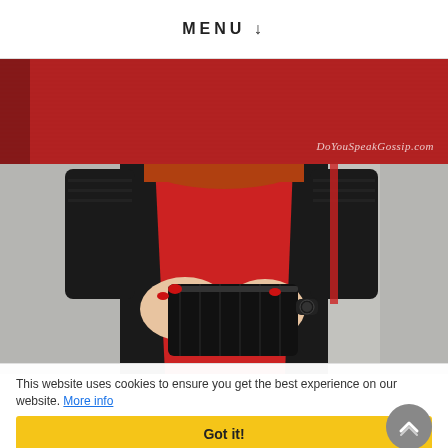MENU ↓
[Figure (photo): Red textured background banner with watermark text 'DoYouSpeakGossip.com' in italic white script at bottom right]
[Figure (photo): Close-up fashion photo of a woman wearing a red and black color-block dress with leather sleeves, holding a black quilted clutch bag, wearing a dark watch, with red painted nails. Background is a grey concrete wall.]
This website uses cookies to ensure you get the best experience on our website. More info
Got it!